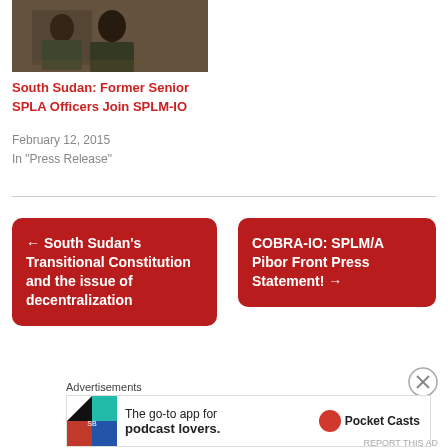[Figure (photo): Group of people, possibly military or official gathering, dark-toned photograph]
South Sudan: Former Senior SPLA Officers Join SPLM-IO
February 12, 2015
In "Press Release"
← South Sudan's Transitional Constitution and the issue of decentralization
COBRA-IO: SPLM/A Pibor Front Press Statement! →
Advertisements
[Figure (infographic): Pocket Casts advertisement: The go-to app for podcast lovers.]